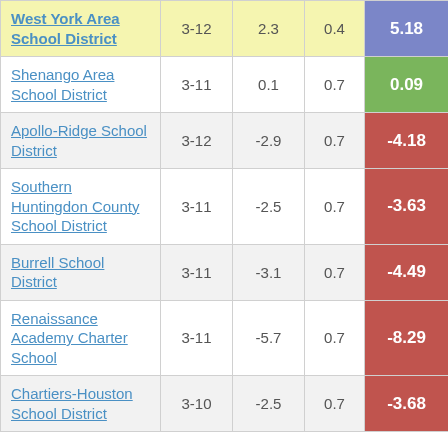| School District | Grades | Col3 | Col4 | Score |
| --- | --- | --- | --- | --- |
| West York Area School District | 3-12 | 2.3 | 0.4 | 5.18 |
| Shenango Area School District | 3-11 | 0.1 | 0.7 | 0.09 |
| Apollo-Ridge School District | 3-12 | -2.9 | 0.7 | -4.18 |
| Southern Huntingdon County School District | 3-11 | -2.5 | 0.7 | -3.63 |
| Burrell School District | 3-11 | -3.1 | 0.7 | -4.49 |
| Renaissance Academy Charter School | 3-11 | -5.7 | 0.7 | -8.29 |
| Chartiers-Houston School District | 3-10 | -2.5 | 0.7 | -3.68 |